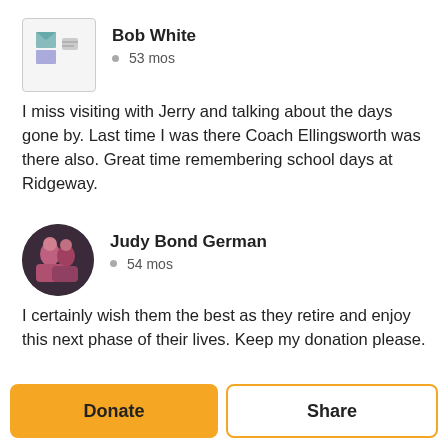Bob White
53 mos
I miss visiting with Jerry and talking about the days gone by. Last time I was there Coach Ellingsworth was there also. Great time remembering school days at Ridgeway.
Judy Bond German
54 mos
I certainly wish them the best as they retire and enjoy this next phase of their lives. Keep my donation please.
Donate
Share